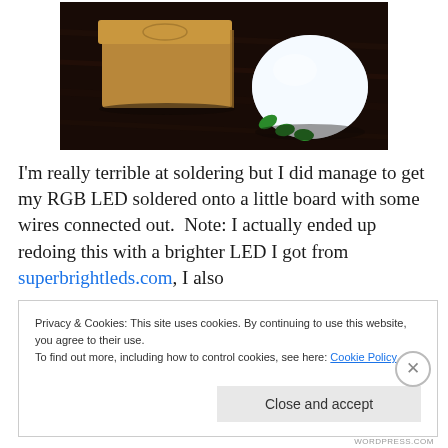[Figure (photo): Photo of a cardboard box and a white dome-shaped LED light with green accents, sitting on a dark wooden surface.]
I'm really terrible at soldering but I did manage to get my RGB LED soldered onto a little board with some wires connected out.  Note: I actually ended up redoing this with a brighter LED I got from superbrightleds.com, I also
Privacy & Cookies: This site uses cookies. By continuing to use this website, you agree to their use.
To find out more, including how to control cookies, see here: Cookie Policy
Close and accept
WORDPRESS.COM